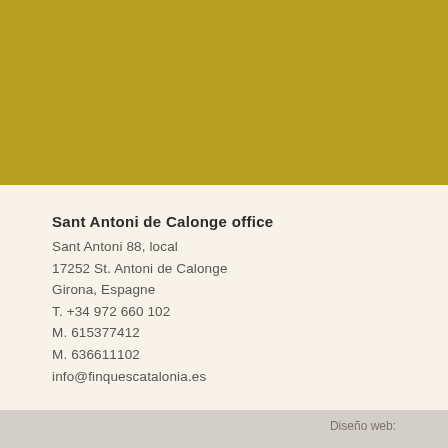[Figure (other): Gold/olive colored banner band at top of page]
Sant Antoni de Calonge office
Sant Antoni 88, local
17252 St. Antoni de Calonge
Girona, Espagne
T. +34 972 660 102
M. 615377412
M. 636611102
info@finquescatalonia.es
Diseño web: